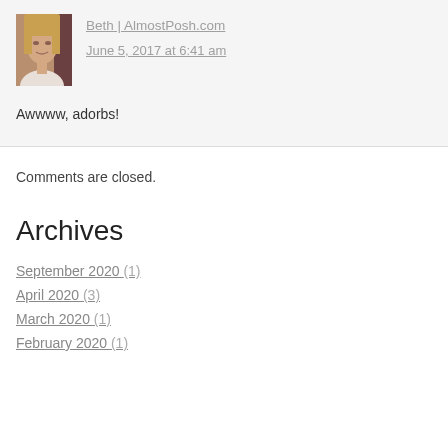[Figure (photo): A small avatar/profile photo of a woman with blonde hair, against a dark background.]
Beth | AlmostPosh.com
June 5, 2017 at 6:41 am
Awwww, adorbs!
Comments are closed.
Archives
September 2020 (1)
April 2020 (3)
March 2020 (1)
February 2020 (1)